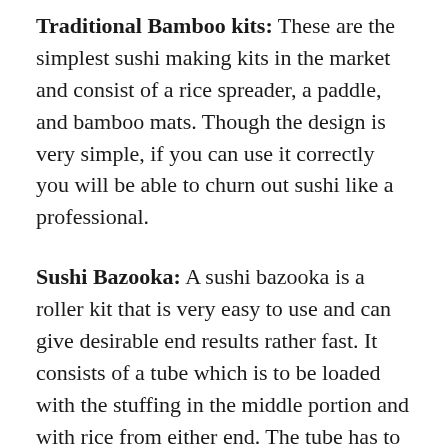Traditional Bamboo kits: These are the simplest sushi making kits in the market and consist of a rice spreader, a paddle, and bamboo mats. Though the design is very simple, if you can use it correctly you will be able to churn out sushi like a professional.
Sushi Bazooka: A sushi bazooka is a roller kit that is very easy to use and can give desirable end results rather fast. It consists of a tube which is to be loaded with the stuffing in the middle portion and with rice from either end. The tube has to be sealed after putting the